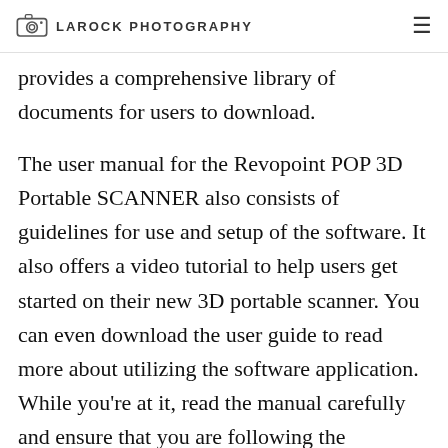LAROCK PHOTOGRAPHY
provides a comprehensive library of documents for users to download.
The user manual for the Revopoint POP 3D Portable SCANNER also consists of guidelines for use and setup of the software. It also offers a video tutorial to help users get started on their new 3D portable scanner. You can even download the user guide to read more about utilizing the software application. While you're at it, read the manual carefully and ensure that you are following the instructions in it.